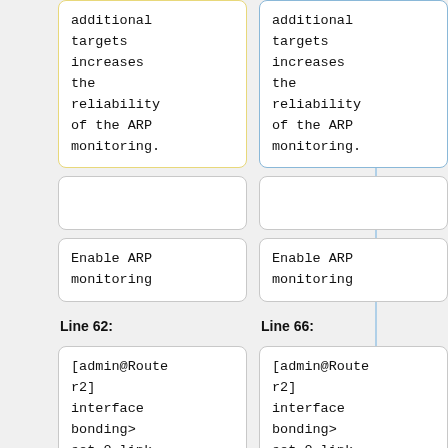additional targets increases the reliability of the ARP monitoring.
additional targets increases the reliability of the ARP monitoring.
Enable ARP monitoring
Enable ARP monitoring
Line 62:
Line 66:
[admin@Router2] interface bonding> set 0 link-monitoring=arp arp-ip-targets 172
[admin@Router2] interface bonding> set 0 link-monitoring=arp arp-ip-targets 172